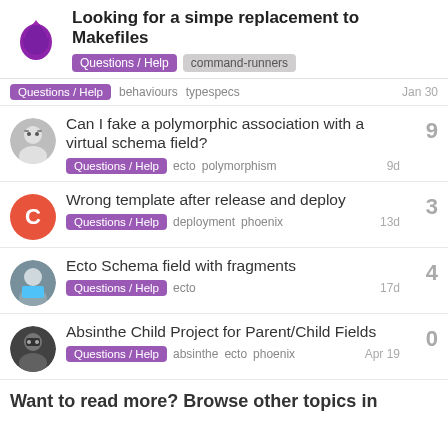Looking for a simpe replacement to Makefiles
Questions / Help  command-runners
Questions / Help  behaviours  typespecs  Jan 30
Can I fake a polymorphic association with a virtual schema field?
Questions / Help  ecto  polymorphism  9  9d
Wrong template after release and deploy
Questions / Help  deployment  phoenix  3  13d
Ecto Schema field with fragments
Questions / Help  ecto  4  17d
Absinthe Child Project for Parent/Child Fields
Questions / Help  absinthe  ecto  phoenix  0  Apr 19
Want to read more? Browse other topics in